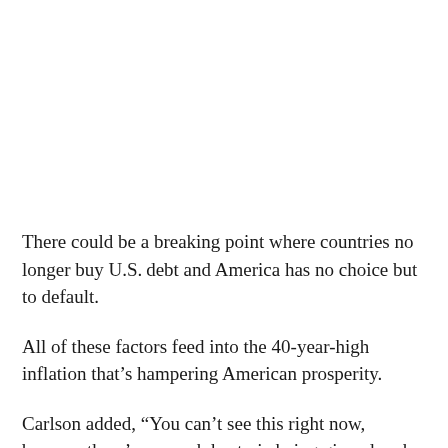There could be a breaking point where countries no longer buy U.S. debt and America has no choice but to default.
All of these factors feed into the 40-year-high inflation that's hampering American prosperity.
Carlson added, “You can’t see this right now, because there’s so much hysteria being ginned up by the media, particularly on social media, but when that hysteria lifts